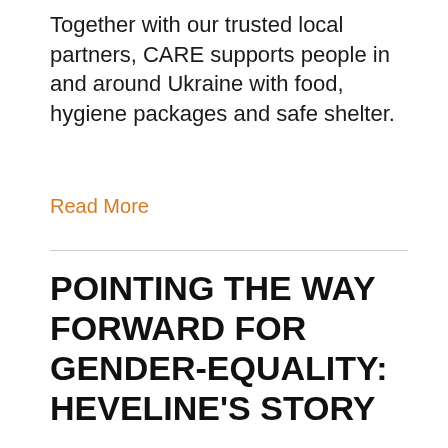Together with our trusted local partners, CARE supports people in and around Ukraine with food, hygiene packages and safe shelter.
Read More
POINTING THE WAY FORWARD FOR GENDER-EQUALITY: HEVELINE'S STORY